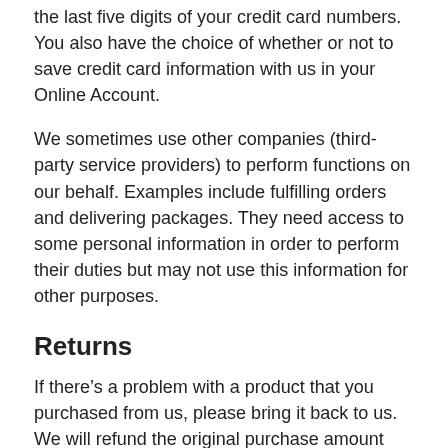the last five digits of your credit card numbers. You also have the choice of whether or not to save credit card information with us in your Online Account.
We sometimes use other companies (third-party service providers) to perform functions on our behalf. Examples include fulfilling orders and delivering packages. They need access to some personal information in order to perform their duties but may not use this information for other purposes.
Returns
If there’s a problem with a product that you purchased from us, please bring it back to us. We will refund the original purchase amount within 14 days of your purchase for items returned in new condition or are defective. Merchandise returned that appears used may be subject to a restocking fee.
Labor fees, such as custom wheel builds or other services, are non-refundable. Custom bikes are also non-